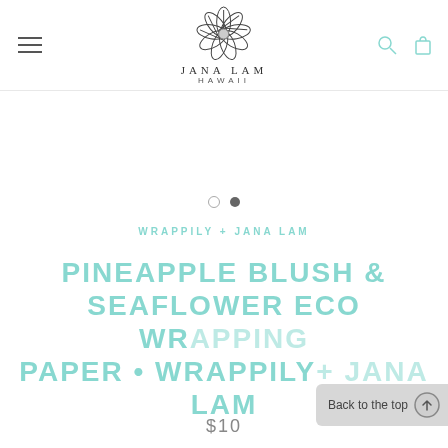[Figure (logo): Jana Lam Hawaii logo with hibiscus flower illustration and brand text]
WRAPPILY + JANA LAM
PINEAPPLE BLUSH & SEAFLOWER ECO WRAPPING PAPER • WRAPPILY + JANA LAM
$10